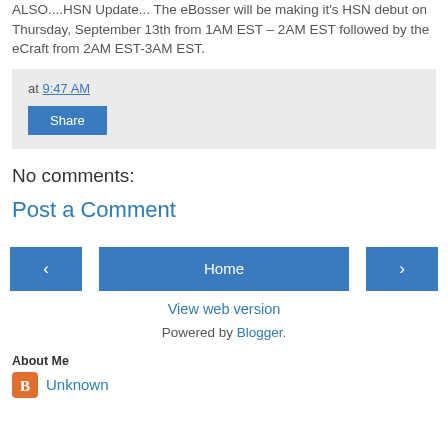ALSO....HSN Update... The eBosser will be making it's HSN debut on Thursday, September 13th from 1AM EST – 2AM EST followed by the eCraft from 2AM EST-3AM EST.
at 9:47 AM
Share
No comments:
Post a Comment
Home
View web version
Powered by Blogger.
About Me
Unknown